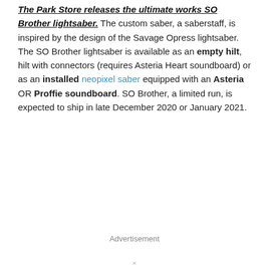The Park Store releases the ultimate works SO Brother lightsaber. The custom saber, a saberstaff, is inspired by the design of the Savage Opress lightsaber. The SO Brother lightsaber is available as an empty hilt, hilt with connectors (requires Asteria Heart soundboard) or as an installed neopixel saber equipped with an Asteria OR Proffie soundboard. SO Brother, a limited run, is expected to ship in late December 2020 or January 2021.
Advertisement